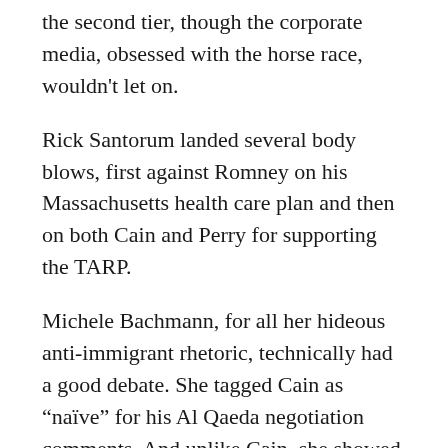the second tier, though the corporate media, obsessed with the horse race, wouldn't let on.
Rick Santorum landed several body blows, first against Romney on his Massachusetts health care plan and then on both Cain and Perry for supporting the TARP.
Michele Bachmann, for all her hideous anti-immigrant rhetoric, technically had a good debate. She tagged Cain as “naïve” for his Al Qaeda negotiation comments. And unlike Cain, she showed sympathy for people suffering in this economy, especially women who were losing their homes.
Newt Gingrich seemed to be enjoying just being on